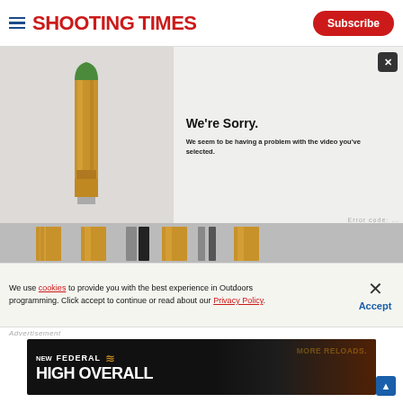SHOOTING TIMES — Subscribe
[Figure (screenshot): Video player showing error message 'We're Sorry. We seem to be having a problem with the video you've selected.' with bullet/ammunition imagery on left and error code visible bottom right. Bottom strip shows bullet casings.]
We're Sorry.
We seem to be having a problem with the video you've selected.
We use cookies to provide you with the best experience in Outdoors programming. Click accept to continue or read about our Privacy Policy.
Advertisement
[Figure (photo): Federal High Overall advertisement banner — NEW FEDERAL logo with wing icon, 'MORE RELOADS.' text, 'HIGH OVERALL' large text, dark background with fire/coal imagery]